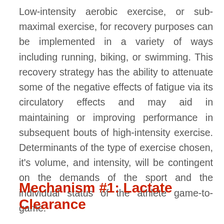Low-intensity aerobic exercise, or sub-maximal exercise, for recovery purposes can be implemented in a variety of ways including running, biking, or swimming. This recovery strategy has the ability to attenuate some of the negative effects of fatigue via its circulatory effects and may aid in maintaining or improving performance in subsequent bouts of high-intensity exercise. Determinants of the type of exercise chosen, it's volume, and intensity, will be contingent on the demands of the sport and the individual status of the athlete game-to-game.
Mechanism #1: Lactate Clearance